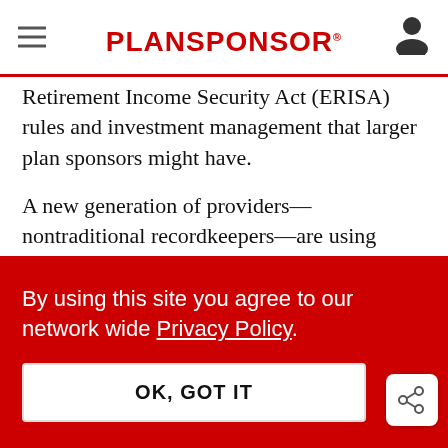PLANSPONSOR
Retirement Income Security Act (ERISA) rules and investment management that larger plan sponsors might have.
A new generation of providers—nontraditional recordkeepers—are using technology to make offering a 401(k) cheaper for businesses and to bring employers more flexibility.
By using this site you agree to our network wide Privacy Policy.
OK, GOT IT